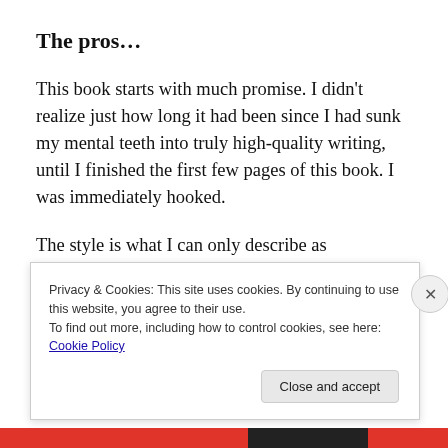The pros…
This book starts with much promise. I didn't realize just how long it had been since I had sunk my mental teeth into truly high-quality writing, until I finished the first few pages of this book. I was immediately hooked.
The style is what I can only describe as “piecemeal” in a most clever way—each sentence requiring more than your average bit of thought to process. Sometimes information
Privacy & Cookies: This site uses cookies. By continuing to use this website, you agree to their use.
To find out more, including how to control cookies, see here: Cookie Policy